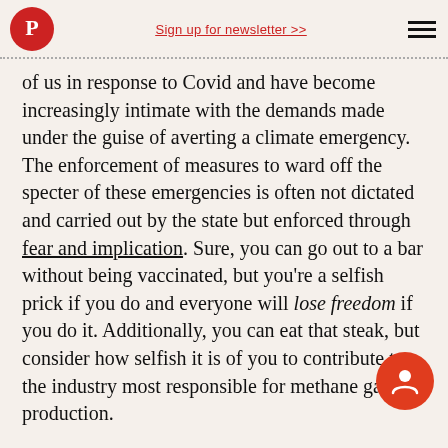Sign up for newsletter >>
of us in response to Covid and have become increasingly intimate with the demands made under the guise of averting a climate emergency. The enforcement of measures to ward off the specter of these emergencies is often not dictated and carried out by the state but enforced through fear and implication. Sure, you can go out to a bar without being vaccinated, but you're a selfish prick if you do and everyone will lose freedom if you do it. Additionally, you can eat that steak, but consider how selfish it is of you to contribute to the industry most responsible for methane gas production.
When the state does react to these emergencies, it's often in ways that supersede Democratic principles. Just yesterday, the Supreme Court rejected religious